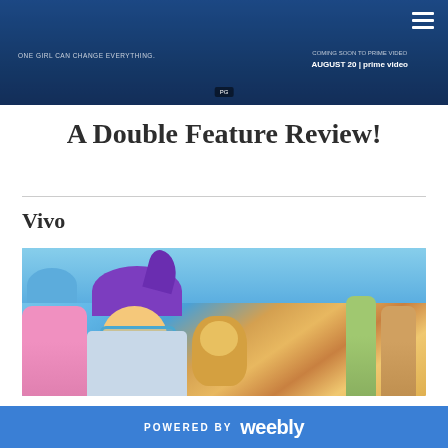[Figure (screenshot): Top banner showing a movie promotional image with blue background, hamburger menu icon, text overlays including 'ONE GIRL CAN CHANGE EVERYTHING', 'AUGUST 20 | prime video', and rating badge]
A Double Feature Review!
Vivo
[Figure (photo): Animated movie still from Vivo showing a purple-haired girl with blue glasses and a small golden monkey/kinkajou in a colorful outdoor scene with crowds in the background]
POWERED BY weebly